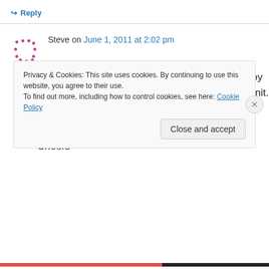↪ Reply
Steve on June 1, 2011 at 2:02 pm
Hi there,i am looking for 06ish Buell lightning alloy shrouds left and right & fly screen,seat and tail unit.

can you help out

Cheers
Privacy & Cookies: This site uses cookies. By continuing to use this website, you agree to their use.
To find out more, including how to control cookies, see here: Cookie Policy